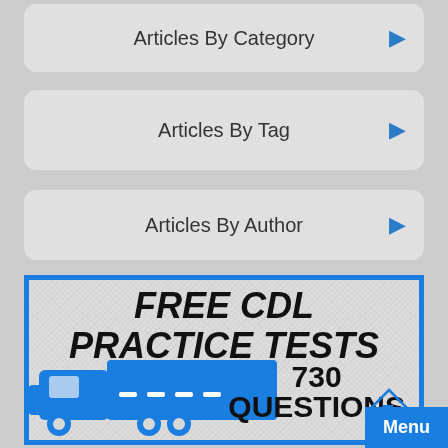Articles By Category
Articles By Tag
Articles By Author
[Figure (illustration): FREE CDL PRACTICE TESTS banner with blue truck icon and '730 QUESTIONS' text, blue border, textured background]
Menu